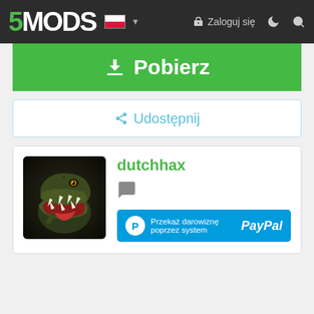5MODS — Zaloguj się
⬇ Pobierz
< Udostępnij
[Figure (photo): T-Rex dinosaur avatar with open jaws against dark background]
dutchhax
💬
Przekaż darowiznę poprzez system PayPal